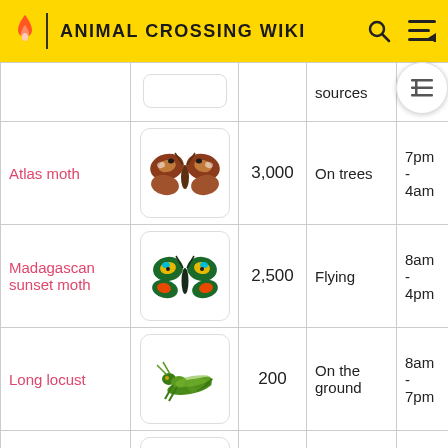ANIMAL CROSSING WIKI
| Name | Image | Price | Location | Time |
| --- | --- | --- | --- | --- |
|  |  |  | sources |  |
| Atlas moth | [img] | 3,000 | On trees | 7pm - 4am |
| Madagascan sunset moth | [img] | 2,500 | Flying | 8am - 4pm |
| Long locust | [img] | 200 | On the ground | 8am - 7pm |
| Mantis | [img] | 430 | On flowers | 8am - 5pm |